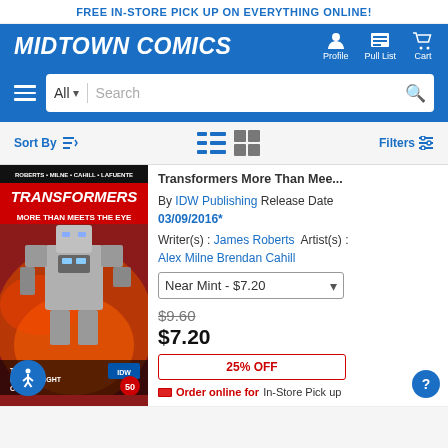FREE IN-STORE PICK UP ON EVERYTHING ONLINE!
MIDTOWN COMICS
Profile  Pull List  Cart
All  Search
Sort By  Filters
[Figure (screenshot): Transformers More Than Meets The Eye comic book cover showing a robot (Transformer) in front of an explosion, with text ROBERTS MILNE CAHILL LAFUENTE at top, TRANSFORMERS MORE THAN MEETS THE EYE in red, and THE DYING OF THE LIGHT IDW 50 at bottom]
Transformers More Than Mee...
By IDW Publishing Release Date 03/09/2016*
Writer(s) : James Roberts  Artist(s) : Alex Milne Brendan Cahill
Near Mint - $7.20
$9.60
$7.20
25% OFF
Order online for In-Store Pick up